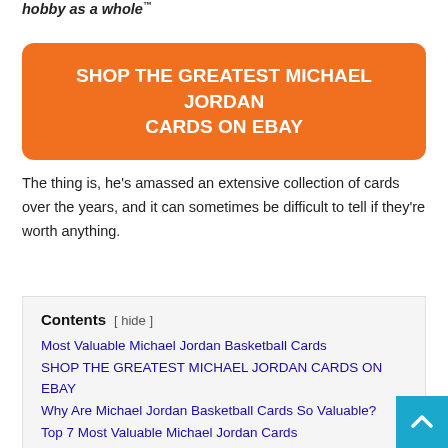hobby as a whole †
SHOP THE GREATEST MICHAEL JORDAN CARDS ON EBAY
The thing is, he’s amassed an extensive collection of cards over the years, and it can sometimes be difficult to tell if they’re worth anything.
Contents [ hide ]
Most Valuable Michael Jordan Basketball Cards
SHOP THE GREATEST MICHAEL JORDAN CARDS ON EBAY
Why Are Michael Jordan Basketball Cards So Valuable?
Top 7 Most Valuable Michael Jordan Cards
Most Valuable Michael Jordan Cards: Buyers Guide & Investment Outlook